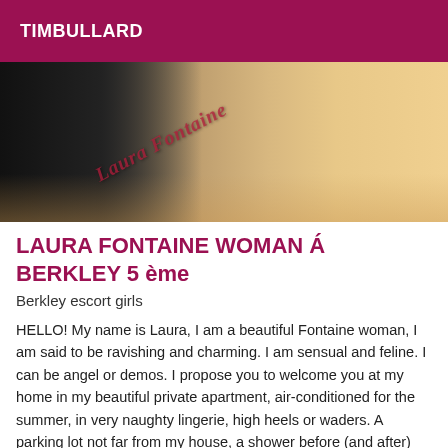TIMBULLARD
[Figure (photo): A blonde woman in black lingerie lying on a bed with a breakfast tray. Watermark text 'Laura Fontaine' written in cursive diagonally across the image.]
LAURA FONTAINE WOMAN Á BERKLEY 5 ème
Berkley escort girls
HELLO! My name is Laura, I am a beautiful Fontaine woman, I am said to be ravishing and charming. I am sensual and feline. I can be angel or demos. I propose you to welcome you at my home in my beautiful private apartment, air-conditioned for the summer, in very naughty lingerie, high heels or waders. A parking lot not far from my house, a shower before (and after) our sex,